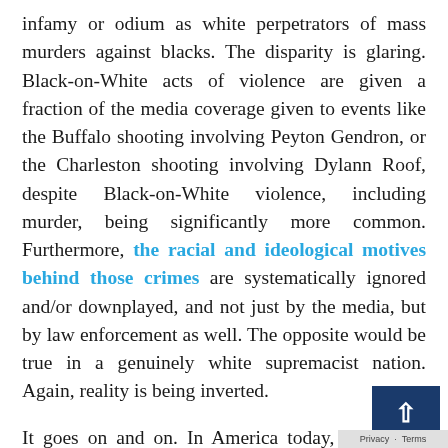infamy or odium as white perpetrators of mass murders against blacks. The disparity is glaring. Black-on-White acts of violence are given a fraction of the media coverage given to events like the Buffalo shooting involving Peyton Gendron, or the Charleston shooting involving Dylann Roof, despite Black-on-White violence, including murder, being significantly more common. Furthermore, the racial and ideological motives behind those crimes are systematically ignored and/or downplayed, and not just by the media, but by law enforcement as well. The opposite would be true in a genuinely white supremacist nation. Again, reality is being inverted.

It goes on and on. In America today, either you believe the most brazen of lies, or you are a dangerous radical, which means anyone with any sense of integrity is now a "dangerous radical." The Cultural